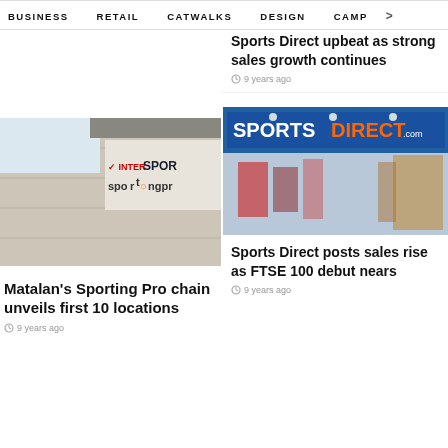BUSINESS   RETAIL   CATWALKS   DESIGN   CAMP >
Sports Direct upbeat as strong sales growth continues
9 years ago
[Figure (photo): Intersport / Sporting Pro store exterior sign on building wall]
[Figure (photo): Sports Direct store front with SPORTS DIRECT .com signage and shoppers visible inside]
Matalan's Sporting Pro chain unveils first 10 locations
9 years ago
Sports Direct posts sales rise as FTSE 100 debut nears
9 years ago